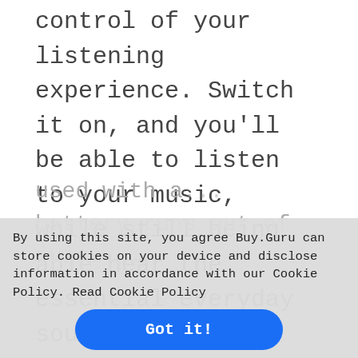control of your listening experience. Switch it on, and you'll be able to listen to your music, while still being able hear the essential everyday sounds that will keep you safe, like traffic noise, ambient sound and transport announcements.
The new large 30-mm drivers achieve a pure, clear, transparent sound even with light and comfortable headphones, ideal for reproducing a wide-spectrum of frequencies, from low bass to high trebles.
used with a... battery runs out of juice...
By using this site, you agree Buy.Guru can store cookies on your device and disclose information in accordance with our Cookie Policy. Read Cookie Policy
Got it!